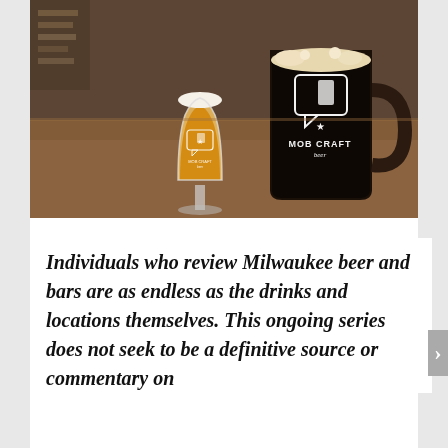[Figure (photo): Two MobCraft Beer branded glasses on a wooden bar surface — a tulip-shaped glass with golden/amber beer on the left, and a large dark mug with dark stout beer on the right. Both glasses bear the MobCraft Beer logo (speech bubble with star and Wisconsin state outline).]
Individuals who review Milwaukee beer and bars are as endless as the drinks and locations themselves. This ongoing series does not seek to be a definitive source or commentary on